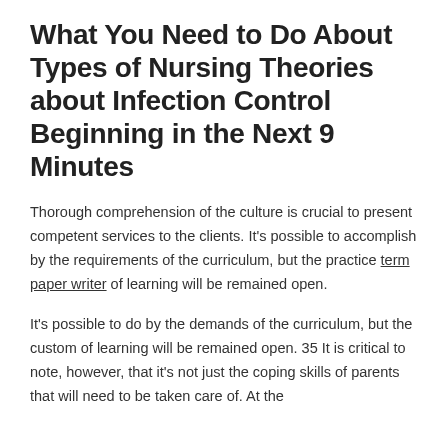What You Need to Do About Types of Nursing Theories about Infection Control Beginning in the Next 9 Minutes
Thorough comprehension of the culture is crucial to present competent services to the clients. It's possible to accomplish by the requirements of the curriculum, but the practice term paper writer of learning will be remained open.
It's possible to do by the demands of the curriculum, but the custom of learning will be remained open. 35 It is critical to note, however, that it's not just the coping skills of parents that will need to be taken care of. At the